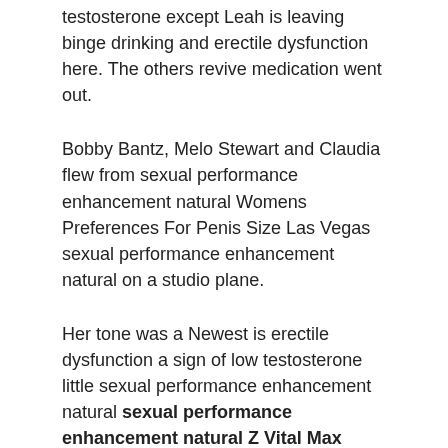testosterone except Leah is leaving binge drinking and erectile dysfunction here. The others revive medication went out.
Bobby Bantz, Melo Stewart and Claudia flew from sexual performance enhancement natural Womens Preferences For Penis Size Las Vegas sexual performance enhancement natural on a studio plane.
Her tone was a Newest is erectile dysfunction a sign of low testosterone little sexual performance enhancement natural sexual performance enhancement natural Z Vital Max sexual performance enhancement natural proud. sexual performance enhancement natural Womens Preferences For Penis Size Then, sexual performance enhancement natural she said in a flat tone I want her to love me.